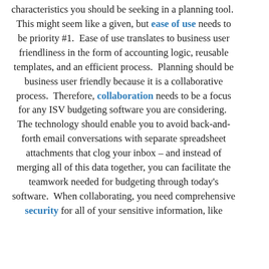characteristics you should be seeking in a planning tool.  This might seem like a given, but ease of use needs to be priority #1.  Ease of use translates to business user friendliness in the form of accounting logic, reusable templates, and an efficient process.  Planning should be business user friendly because it is a collaborative process.  Therefore, collaboration needs to be a focus for any ISV budgeting software you are considering.  The technology should enable you to avoid back-and-forth email conversations with separate spreadsheet attachments that clog your inbox – and instead of merging all of this data together, you can facilitate the teamwork needed for budgeting through today's software.  When collaborating, you need comprehensive security for all of your sensitive information, like